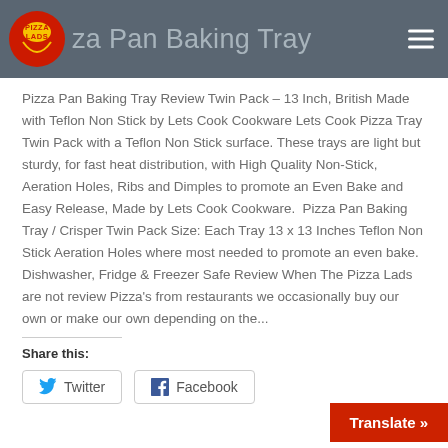Pizza Pan Baking Tray
Pizza Pan Baking Tray Review Twin Pack – 13 Inch, British Made with Teflon Non Stick by Lets Cook Cookware Lets Cook Pizza Tray Twin Pack with a Teflon Non Stick surface. These trays are light but sturdy, for fast heat distribution, with High Quality Non-Stick, Aeration Holes, Ribs and Dimples to promote an Even Bake and Easy Release, Made by Lets Cook Cookware.  Pizza Pan Baking Tray / Crisper Twin Pack Size: Each Tray 13 x 13 Inches Teflon Non Stick Aeration Holes where most needed to promote an even bake. Dishwasher, Fridge & Freezer Safe Review When The Pizza Lads are not review Pizza's from restaurants we occasionally buy our own or make our own depending on the...
Share this:
Twitter
Facebook